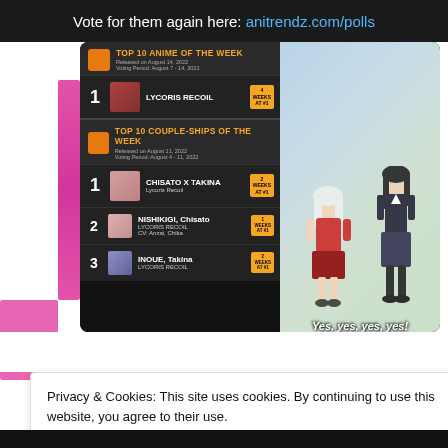Vote for them again here: anitrendz.com/polls
[Figure (screenshot): Composite image showing anitrendz.com anime rankings (Top 10 Anime of the Week: #1 Lycoris Recoil; Top 10 Couple-Ships: #1 Chisato x Takina, #2 Nishikigi Chisato, #3 Inoue Takina) alongside an anime screenshot of two characters with subtitle 'Yes, yes, yes, yes!']
Privacy & Cookies: This site uses cookies. By continuing to use this website, you agree to their use.
To find out more, including how to control cookies, see here: Cookie Policy
Close and accept